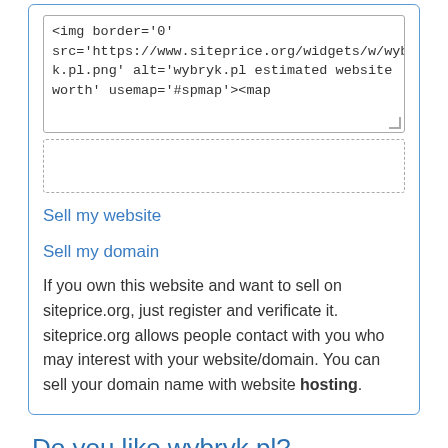<img border='0' src='https://www.siteprice.org/widgets/w/wybryk.pl.png' alt='wybryk.pl estimated website worth' usemap='#spmap'><map
Sell my website
Sell my domain
If you own this website and want to sell on siteprice.org, just register and verificate it. siteprice.org allows people contact with you who may interest with your website/domain. You can sell your domain name with website hosting.
Do you like wybryk.pl?